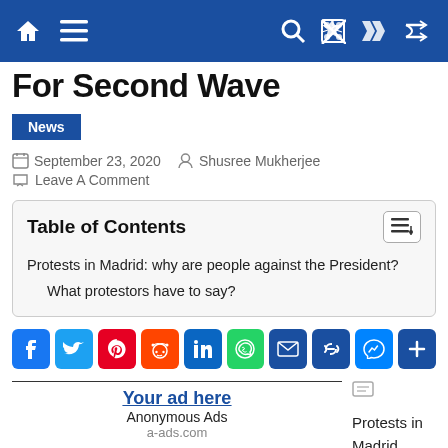Navigation bar with home, menu, search, shuffle icons
For Second Wave
News
September 23, 2020  Shusree Mukherjee
Leave A Comment
| Table of Contents |
| --- |
| Protests in Madrid: why are people against the President? |
| What protestors have to say? |
[Figure (other): Social share buttons: Facebook, Twitter, Pinterest, Reddit, LinkedIn, WhatsApp, Email, Link, Messenger, More]
Your ad here
Anonymous Ads
a-ads.com
Protests in Madrid spread across the streets on Sunday
Your ad here